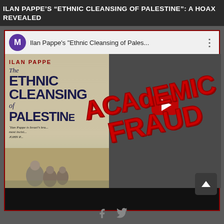ILAN PAPPE'S “ETHNIC CLEANSING OF PALESTINE”: A HOAX REVEALED
[Figure (screenshot): YouTube video thumbnail showing Ilan Pappe's book 'The Ethnic Cleansing of Palestine' overlaid with a red stamp reading 'ACADEMIC FRAUD'. The video player interface shows a channel avatar with the letter M, the video title 'Ilan Pappe's "Ethnic Cleansing of Pales...' and a three-dot menu. A red play button is visible in the center.]